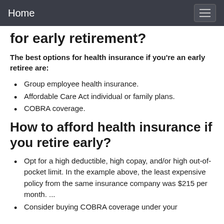Home
for early retirement?
The best options for health insurance if you're an early retiree are:
Group employee health insurance.
Affordable Care Act individual or family plans.
COBRA coverage.
How to afford health insurance if you retire early?
Opt for a high deductible, high copay, and/or high out-of-pocket limit. In the example above, the least expensive policy from the same insurance company was $215 per month. ...
Consider buying COBRA coverage under your